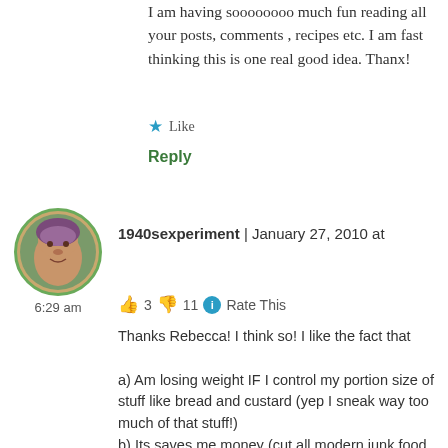I am having soooooooo much fun reading all your posts, comments , recipes etc. I am fast thinking this is one real good idea. Thanx!
★ Like
Reply
1940sexperiment  |  January 27, 2010 at
6:29 am
👍 3  👎 11  ℹ Rate This
Thanks Rebecca! I think so! I like the fact that

a) Am losing weight IF I control my portion size of stuff like bread and custard (yep I sneak way too much of that stuff!)
b) Its saves me money (cut all modern junk food and drinks out of your life apart from your sweet/candy ration, and you'll find you save a ton of money)